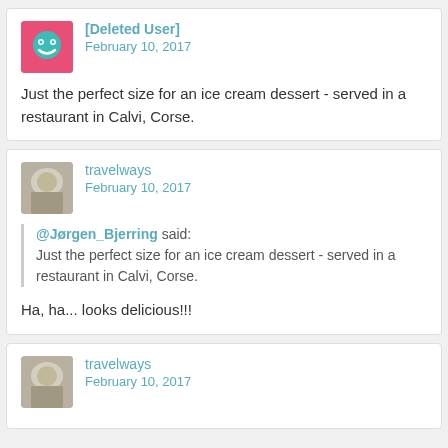[Deleted User]
February 10, 2017
Just the perfect size for an ice cream dessert - served in a restaurant in Calvi, Corse.
travelways
February 10, 2017
@Jørgen_Bjerring said: Just the perfect size for an ice cream dessert - served in a restaurant in Calvi, Corse.
Ha, ha... looks delicious!!!
travelways
February 10, 2017